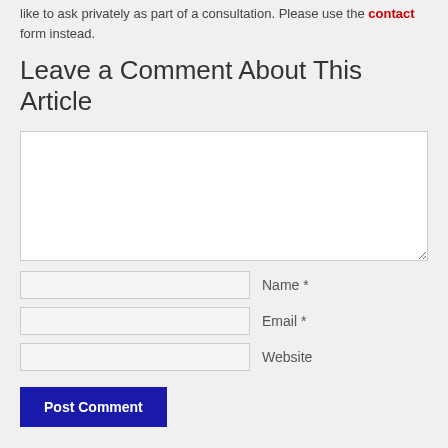like to ask privately as part of a consultation. Please use the contact form instead.
Leave a Comment About This Article
Comment text area (empty)
Name *
Email *
Website
Post Comment